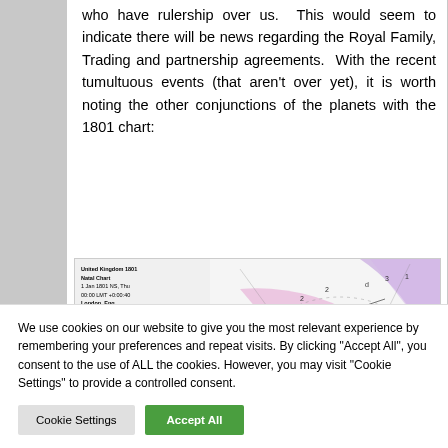who have rulership over us. This would seem to indicate there will be news regarding the Royal Family, Trading and partnership agreements. With the recent tumultuous events (that aren't over yet), it is worth noting the other conjunctions of the planets with the 1801 chart:
[Figure (other): Partial view of an astrological natal chart for United Kingdom 1801. Chart info text visible on left: United Kingdom 1801, Natal Chart, 1 Jan 1801 NS, Thu, 00:00 LMT +0:00:40, London, England, 51N30 000W10, Geocentric, Tropical, Whole Signs, True Node. Colorful circular chart diagram partially visible on the right.]
We use cookies on our website to give you the most relevant experience by remembering your preferences and repeat visits. By clicking "Accept All", you consent to the use of ALL the cookies. However, you may visit "Cookie Settings" to provide a controlled consent.